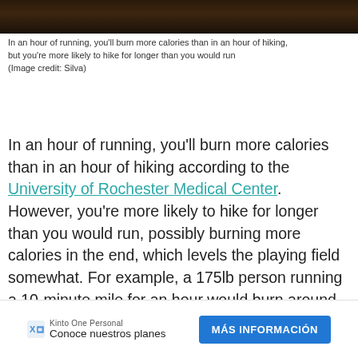[Figure (photo): Dark forest/ground photo strip at top of page]
In an hour of running, you'll burn more calories than in an hour of hiking, but you're more likely to hike for longer than you would run
(Image credit: Silva)
In an hour of running, you'll burn more calories than in an hour of hiking according to the University of Rochester Medical Center. However, you're more likely to hike for longer than you would run, possibly burning more calories in the end, which levels the playing field somewhat. For example, a 175lb person running a 10-minute mile for an hour would burn around 840 calories, but that same person would burn 1008 calories in two hours of hiking.
[Figure (other): Advertisement banner: Kinto One Personal - Conoce nuestros planes - MAS INFORMACION button]